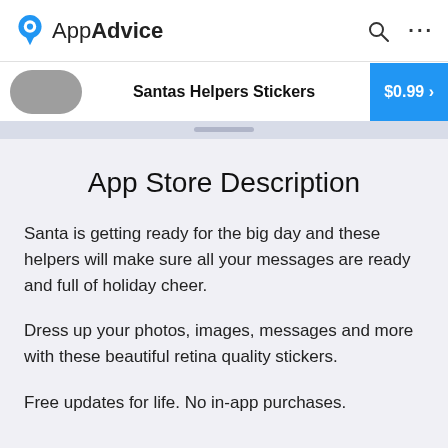AppAdvice
Santas Helpers Stickers  $0.99 >
App Store Description
Santa is getting ready for the big day and these helpers will make sure all your messages are ready and full of holiday cheer.
Dress up your photos, images, messages and more with these beautiful retina quality stickers.
Free updates for life. No in-app purchases.